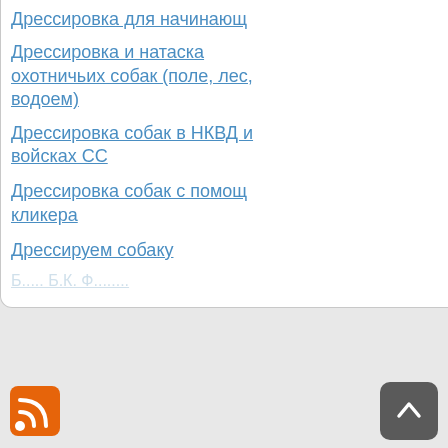Дрессировка для начинающ...
Дрессировка и натаска охотничьих собак (поле, лес, водоем)
Дрессировка собак в НКВД и войсках СС
Дрессировка собак с помощ кликера
Дрессируем собаку
Б... Б.К. Ф... (faded/truncated)
Главная|Объявления|Дрессировка|Мальчики|Питомники|Породы|Фотогалерея|Статьи|Ветеринария|Клички Видео|Книги|Карта сайта|Форум
© 2009-2020 myanimals.org.ua  .  Все права защищены.